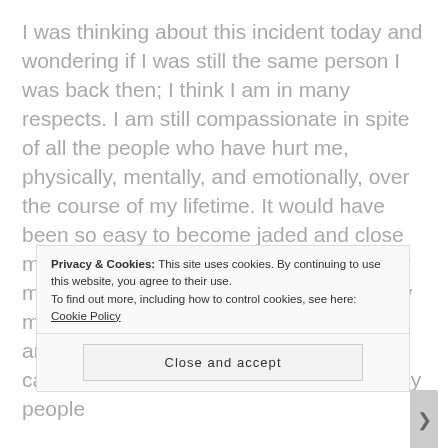I was thinking about this incident today and wondering if I was still the same person I was back then; I think I am in many respects. I am still compassionate in spite of all the people who have hurt me, physically, mentally, and emotionally, over the course of my lifetime. It would have been so easy to become jaded and close myself off to the rest of the world, but how much I would have lost! So no matter how much you have been hurt by others, you are hurting yourself more by becoming callous and putting up walls. I see so many people
Privacy & Cookies: This site uses cookies. By continuing to use this website, you agree to their use. To find out more, including how to control cookies, see here: Cookie Policy
Close and accept